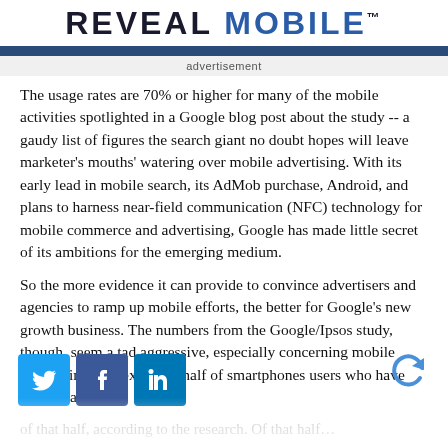REVEAL MOBILE™
advertisement
The usage rates are 70% or higher for many of the mobile activities spotlighted in a Google blog post about the study -- a gaudy list of figures the search giant no doubt hopes will leave marketer's mouths' watering over mobile advertising. With its early lead in mobile search, its AdMob purchase, Android, and plans to harness near-field communication (NFC) technology for mobile commerce and advertising, Google has made little secret of its ambitions for the emerging medium.
So the more evidence it can provide to convince advertisers and agencies to ramp up mobile efforts, the better for Google's new growth business. The numbers from the Google/Ipsos study, though, seem a tad aggressive, especially concerning mobile advertising. For example, half of smartphones users who have seen an ad… of that half, according to the research. Of that half…